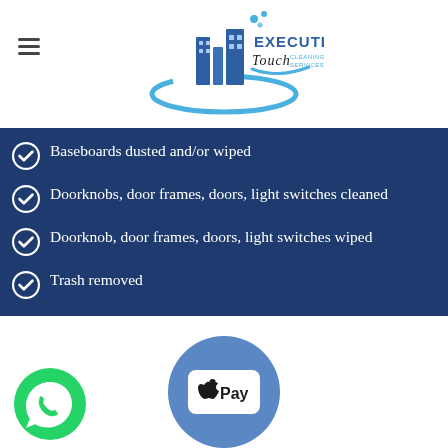Executive Touch Cleaning Services
Baseboards dusted and/or wiped
Doorknobs, door frames, doors, light switches cleaned
Doorknob, door frames, doors, light switches wiped
Trash removed
[Figure (logo): WhatsApp logo - green circle with phone icon]
[Figure (logo): Apple Pay logo - blue circle with Apple Pay text on white rounded rectangle]